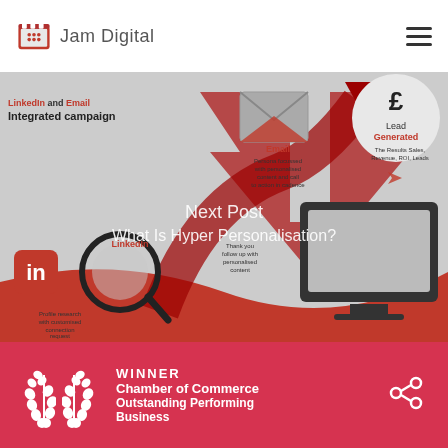[Figure (logo): Jam Digital logo with red icon and grey text]
[Figure (infographic): LinkedIn and Email Integrated campaign infographic showing steps: LinkedIn profile research with customised connection request, Email persona focussed with personalised content and call to action in cadence, Thank you follow up with personalised content, Lead Generated - The Results Sales, Revenue, ROI, Leads. Red arrow path through the steps on a grey background.]
Next Post
What Is Hyper Personalisation?
[Figure (illustration): Two white laurel/wheat leaf icons on red background]
WINNER Chamber of Commerce Outstanding Performing Business
[Figure (illustration): White share/network icon on red background]